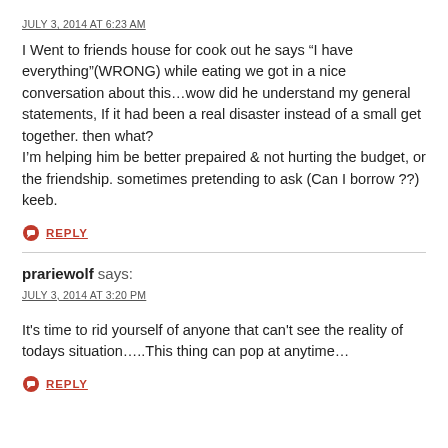JULY 3, 2014 AT 6:23 AM
I Went to friends house for cook out he says “I have everything”(WRONG) while eating we got in a nice conversation about this…wow did he understand my general statements, If it had been a real disaster instead of a small get together. then what?
I’m helping him be better prepaired & not hurting the budget, or the friendship. sometimes pretending to ask (Can I borrow ??) keeb.
REPLY
prariewolf says:
JULY 3, 2014 AT 3:20 PM
It’s time to rid yourself of anyone that can’t see the reality of todays situation…..This thing can pop at anytime…
REPLY